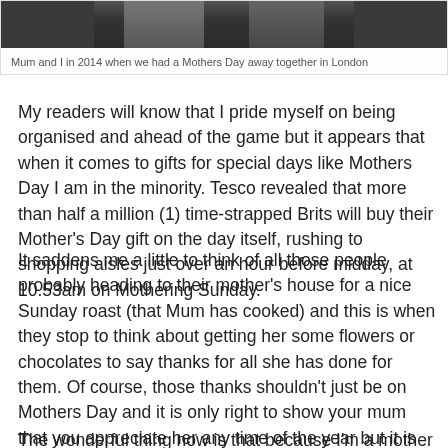[Figure (photo): Photo of two people at a Mothers Day event in London, 2014]
Mum and I in 2014 when we had a Mothers Day away together in London
My readers will know that I pride myself on being organised and ahead of the game but it appears that when it comes to gifts for special days like Mothers Day I am in the minority. Tesco revealed that more than half a million (1) time-strapped Brits will buy their Mother's Day gift on the day itself, rushing to shopping aisles just over an hour before midday, at 10.53am on Mothering Sunday.
It saddens me a little to think of all those people probably heading to their mother's house for a nice Sunday roast (that Mum has cooked) and this is when they stop to think about getting her some flowers or chocolates to say thanks for all she has done for them. Of course, those thanks shouldn't just be on Mothers Day and it is only right to show your mum that you appreciate her any time of the year but it is great to have a special day dedicated to mothers everywhere.
The wonderful thing now is that because I'm a mother too